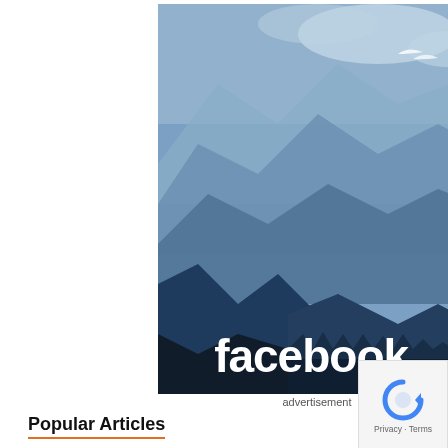[Figure (photo): Facebook advertisement showing a stylized blue mountain landscape with layered silhouettes of mountains and trees in varying shades of blue, with the white 'facebook.' wordmark at the bottom center of the image.]
advertisement
Popular Articles
[Figure (logo): Google reCAPTCHA badge with circular arrow icon and 'Privacy - Terms' text below]